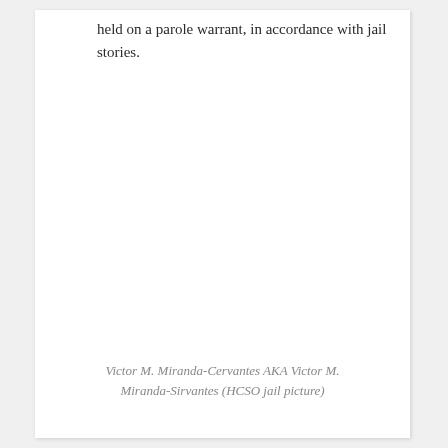held on a parole warrant, in accordance with jail stories.
Victor M. Miranda-Cervantes AKA Victor M. Miranda-Sirvantes (HCSO jail picture)